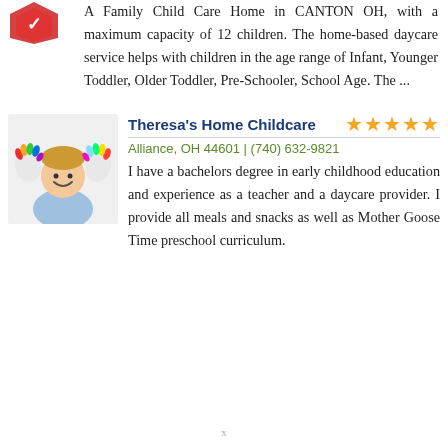A Family Child Care Home in CANTON OH, with a maximum capacity of 12 children. The home-based daycare service helps with children in the age range of Infant, Younger Toddler, Older Toddler, Pre-Schooler, School Age. The ...
[Figure (photo): Photo of a young child with colorful painted hands raised up, smiling]
Theresa's Home Childcare
Alliance, OH 44601 | (740) 632-9821
I have a bachelors degree in early childhood education and experience as a teacher and a daycare provider. I provide all meals and snacks as well as Mother Goose Time preschool curriculum.